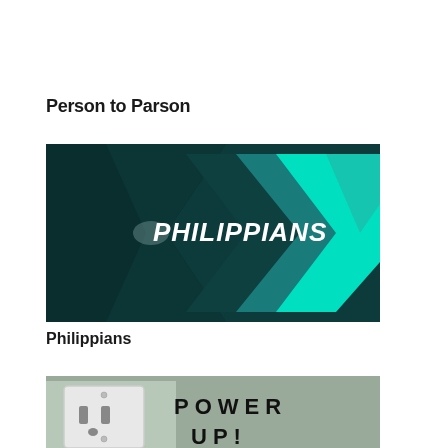Person to Parson
[Figure (illustration): Dark teal background with chevron/arrow shapes in teal, and the word PHILIPPIANS in white italic text in the center]
Philippians
[Figure (illustration): An electrical wall outlet on a grungy concrete background with the text POWER UP! in bold black letters to the right]